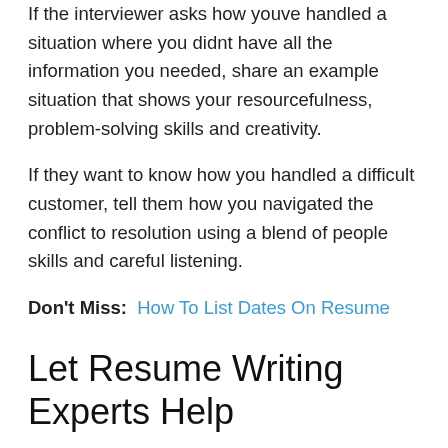If the interviewer asks how youve handled a situation where you didnt have all the information you needed, share an example situation that shows your resourcefulness, problem-solving skills and creativity.
If they want to know how you handled a difficult customer, tell them how you navigated the conflict to resolution using a blend of people skills and careful listening.
Don't Miss:  How To List Dates On Resume
Let Resume Writing Experts Help
Are you tired of your resume being rejected by applicant tracking systems? I know how frustrating it is to submit your resume and receive no response. I hate seeing qualified people never breakthrough the screening process. It shouldnt